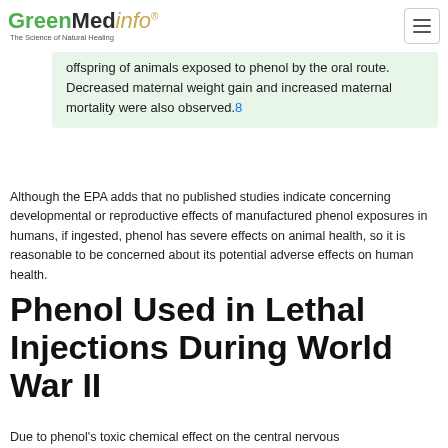GreenMedinfo® The Science of Natural Healing
offspring of animals exposed to phenol by the oral route. Decreased maternal weight gain and increased maternal mortality were also observed.8
Although the EPA adds that no published studies indicate concerning developmental or reproductive effects of manufactured phenol exposures in humans, if ingested, phenol has severe effects on animal health, so it is reasonable to be concerned about its potential adverse effects on human health.
Phenol Used in Lethal Injections During World War II
Due to phenol's toxic chemical effect on the central nervous